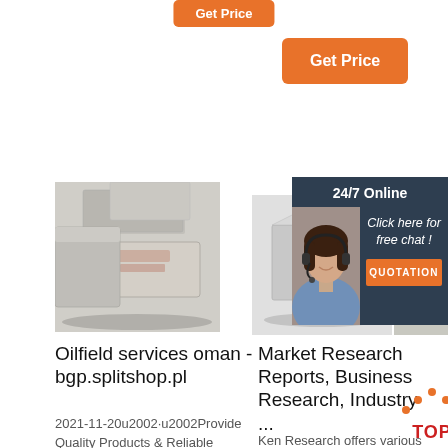[Figure (other): Orange 'Get Price' button at top center (partially visible)]
[Figure (other): Orange 'Get Price' button at top right]
[Figure (photo): Photo of gray/white bricks or concrete blocks stacked]
[Figure (photo): Photo of a gray/white rectangular block]
[Figure (photo): Photo of what appears to be a computer monitor or equipment]
[Figure (other): 24/7 Online chat overlay with female agent wearing headset, 'Click here for free chat!' text, and QUOTATION button]
Oilfield services oman - bgp.splitshop.pl
2021-11-20u2002·u2002Provide Quality Products & Reliable Services and sourcing from Leading
Market Research Reports, Business Research, Industry ...
Ken Research offers various market research reports covering
Solut... Essay... provi... stude... homework
Cheap essay writing sercice. If you need professional help with completing
[Figure (logo): TOP badge/logo with orange dots forming triangle and red TOP text]